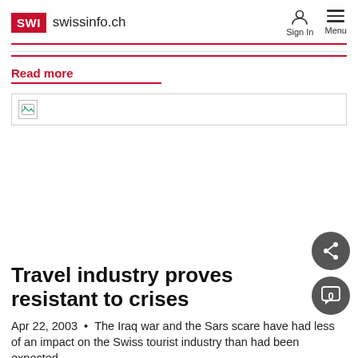SWI swissinfo.ch   Sign In   Menu
Read more
[Figure (photo): Broken image placeholder thumbnail]
Travel industry proves resistant to crises
Apr 22, 2003 • The Iraq war and the Sars scare have had less of an impact on the Swiss tourist industry than had been expected.